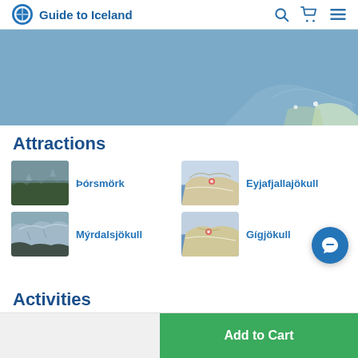Guide to Iceland
[Figure (photo): Aerial/map view of Iceland region, blue-grey tones]
Attractions
[Figure (photo): Þórsmörk mountain landscape thumbnail]
Þórsmörk
[Figure (map): Eyjafjallajökull map thumbnail]
Eyjafjallajökull
[Figure (photo): Mýrdalsjökull glacier landscape thumbnail]
Mýrdalsjökull
[Figure (map): Gígjökull map thumbnail]
Gígjökull
Activities
Add to Cart